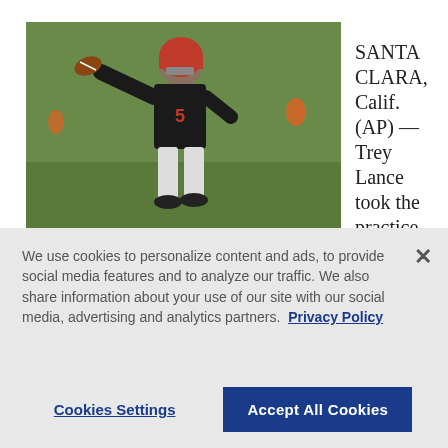[Figure (photo): Football player (quarterback wearing San Francisco 49ers uniform, number 5) throwing a pass during practice on a green field]
View All (2)
SANTA CLARA, Calif. (AP) — Trey Lance took the practice field this week for the San Francisco 49ers in a far different state than his rookie campaign.
We use cookies to personalize content and ads, to provide social media features and to analyze our traffic. We also share information about your use of our site with our social media, advertising and analytics partners. Privacy Policy
Cookies Settings
Accept All Cookies